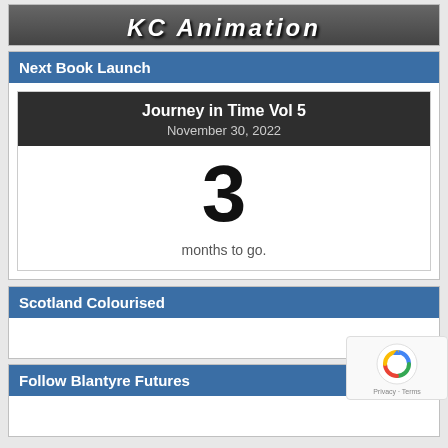[Figure (photo): Partial banner image with large italic bold white text partially visible, showing 'KC Animation' or similar text on a dark/grey background]
Next Book Launch
Journey in Time Vol 5
November 30, 2022
3 months to go.
Scotland Colourised
Follow Blantyre Futures